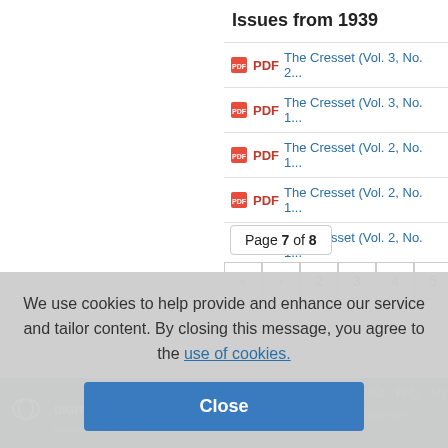Issues from 1939
PDF  The Cresset (Vol. 3, No. 2...
PDF  The Cresset (Vol. 3, No. 1...
PDF  The Cresset (Vol. 2, No. 1...
PDF  The Cresset (Vol. 2, No. 1...
PDF  The Cresset (Vol. 2, No. 1...
Page 7 of 8
<< < 2 3 4 5 6
We use cookies to help provide and enhance our service and tailor content. By closing this message, you agree to the use of cookies.
Close
DIGITAL COMMONS powered by bepress | Home | About | FAQ | My Account | Accessibility Statement | Privacy | Copyright